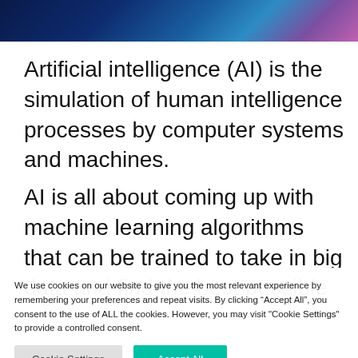[Figure (photo): Abstract AI-themed hero image with dark blue and purple gradient tones, suggesting technology and neural networks]
Artificial intelligence (AI) is the simulation of human intelligence processes by computer systems and machines.
AI is all about coming up with machine learning algorithms that can be trained to take in big data and find the best possible
We use cookies on our website to give you the most relevant experience by remembering your preferences and repeat visits. By clicking “Accept All”, you consent to the use of ALL the cookies. However, you may visit "Cookie Settings" to provide a controlled consent.